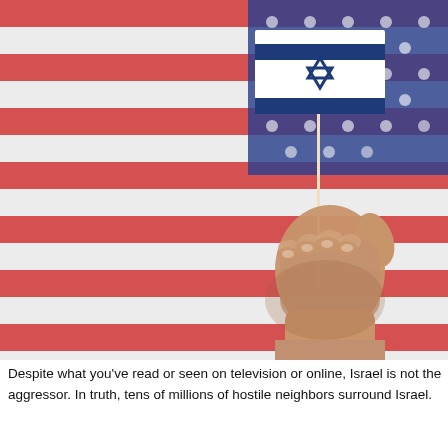[Figure (photo): A hand holding a small Israeli flag (white with blue Star of David and blue stripes) on a stick, against a blurred American flag background showing red and white stripes and the blue star field.]
Despite what you've read or seen on television or online, Israel is not the aggressor. In truth, tens of millions of hostile neighbors surround Israel.